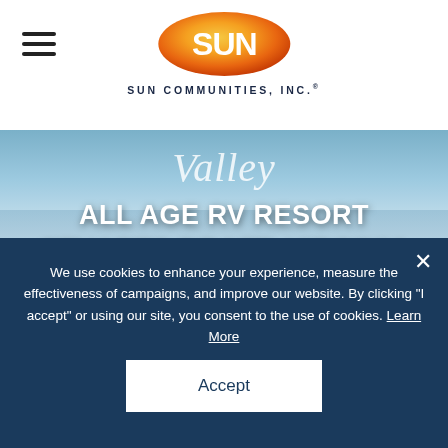Sun Communities, Inc. — navigation header with hamburger menu and Sun Communities logo
[Figure (screenshot): Hero background photo of a lakeside beach scene with water reflecting sky and sandy shore]
Valley
ALL AGE RV RESORT
STUARTS DRAFT, VIRGINIA
888-709-1172
SEE ALL PHOTOS
We use cookies to enhance your experience, measure the effectiveness of campaigns, and improve our website. By clicking "I accept" or using our site, you consent to the use of cookies. Learn More
Accept